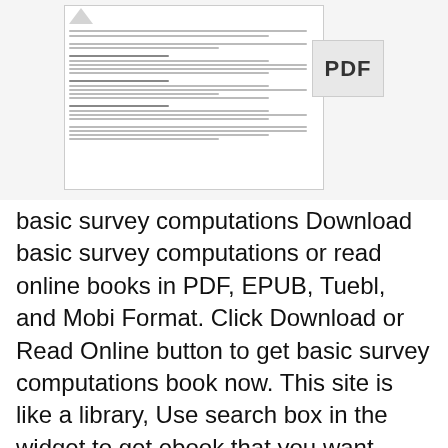[Figure (screenshot): Thumbnail preview of a PDF document about basic survey computations, showing a document page with text lines and formulas, alongside a PDF badge icon]
basic survey computations Download basic survey computations or read online books in PDF, EPUB, Tuebl, and Mobi Format. Click Download or Read Online button to get basic survey computations book now. This site is like a library, Use search box in the widget to get ebook that you want. 17/05/2018B B· Adjustment Computations: Spatial Data Analysis